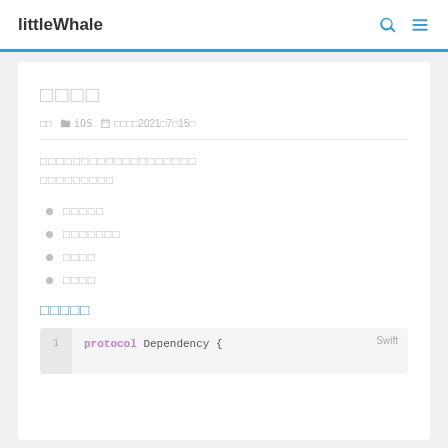littleWhale
□□□□
□□  □ iOS  □ □□□□□2021□7□15□
□□□□□□□□□□□□□□□□□□□□□□□□□□□□
□□□□□
□□□□□□□
□□□□
□□□□
□□□□□
Swift
1   protocol Dependency {